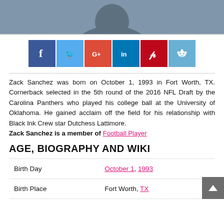[Figure (photo): Top portion of a profile photo showing a dark silhouette/head shape against a blue-grey background]
[Figure (infographic): Social media share buttons: Facebook (blue), Twitter (light blue), Google+ (red), LinkedIn (dark blue), Pinterest (dark red), Reddit (light blue)]
Zack Sanchez was born on October 1, 1993 in Fort Worth, TX. Cornerback selected in the 5th round of the 2016 NFL Draft by the Carolina Panthers who played his college ball at the University of Oklahoma. He gained acclaim off the field for his relationship with Black Ink Crew star Dutchess Lattimore.
Zack Sanchez is a member of Football Player
AGE, BIOGRAPHY AND WIKI
| Birth Day | Birth Place |
| --- | --- |
| Birth Day | October 1, 1993 |
| Birth Place | Fort Worth, TX |